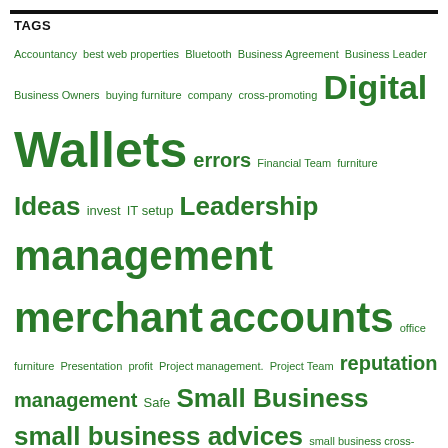TAGS
[Figure (infographic): Tag cloud with words in varying sizes and green color, representing topics/tags related to business, finance, and digital topics.]